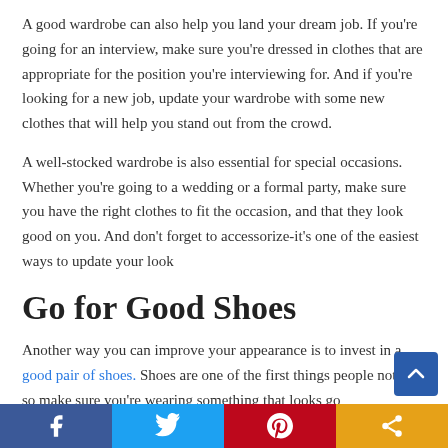A good wardrobe can also help you land your dream job. If you're going for an interview, make sure you're dressed in clothes that are appropriate for the position you're interviewing for. And if you're looking for a new job, update your wardrobe with some new clothes that will help you stand out from the crowd.
A well-stocked wardrobe is also essential for special occasions. Whether you're going to a wedding or a formal party, make sure you have the right clothes to fit the occasion, and that they look good on you. And don't forget to accessorize-it's one of the easiest ways to update your look
Go for Good Shoes
Another way you can improve your appearance is to invest in a good pair of shoes. Shoes are one of the first things people notice, so make sure you're wearing something that looks go…
[Figure (other): Social share bar with Facebook, Twitter, Pinterest, and share buttons at the bottom of the page, plus a scroll-to-top button]